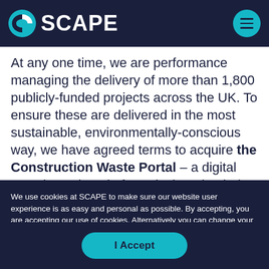SCAPE
At any one time, we are performance managing the delivery of more than 1,800 publicly-funded projects across the UK. To ensure these are delivered in the most sustainable, environmentally-conscious way, we have agreed terms to acquire the Construction Waste Portal – a digital crowdsourcing platform designed to help
We use cookies at SCAPE to make sure our website user experience is as easy and personal as possible. By accepting, you are accepting our use of cookies. Alternatively you can change your cookie preferences when using SCAPE's website.
I Accept